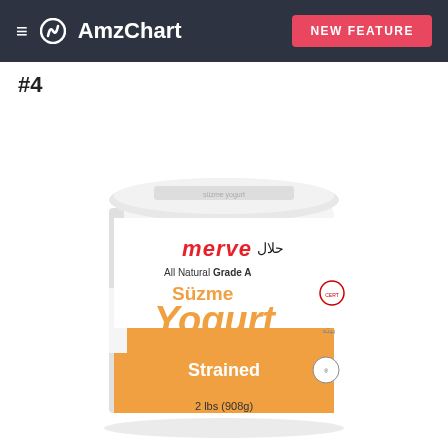≡ AmzChart  NEW FEATURE
#4
[Figure (photo): Product photo of Merve brand Süzme Yogurt container. White cylindrical tub with orange and white label. Label reads: حلال (halal in Arabic), 'merve' in red bubble letters, 'All Natural Grade A', 'Süzme Yogurt' in large orange letters, 'Strained', '2 lbs (908g)'. Small certification seal visible on right side.]